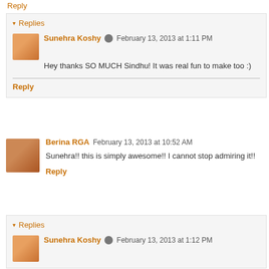Reply
Replies
Sunehra Koshy  February 13, 2013 at 1:11 PM
Hey thanks SO MUCH Sindhu! It was real fun to make too :)
Reply
Berina RGA  February 13, 2013 at 10:52 AM
Sunehra!! this is simply awesome!! I cannot stop admiring it!!
Reply
Replies
Sunehra Koshy  February 13, 2013 at 1:12 PM